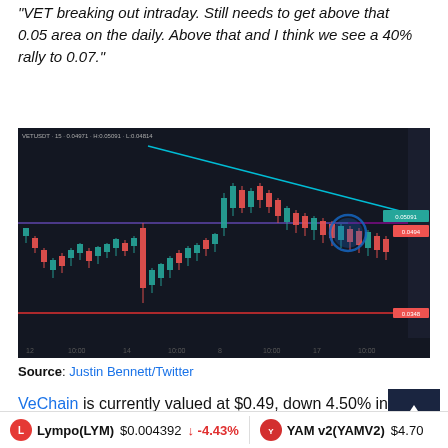“VET breaking out intraday. Still needs to get above that 0.05 area on the daily. Above that and I think we see a 40% rally to 0.07.”
[Figure (screenshot): Candlestick chart of VET/USDT showing price action with a descending triangle pattern marked with cyan trendlines and horizontal red support lines. A blue circle highlights current price near resistance. Price labels visible on right axis.]
Source: Justin Bennett/Twitter
VeChain is currently valued at $0.49, down 4.50% in the
Lympo(LYM) $0.004392 -4.43%    YAM v2(YAMV2) $4.70